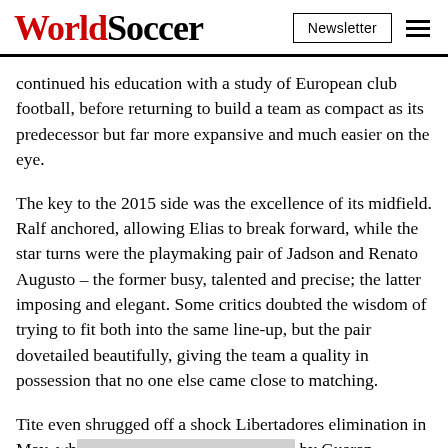WorldSoccer | Newsletter
continued his education with a study of European club football, before returning to build a team as compact as its predecessor but far more expansive and much easier on the eye.
The key to the 2015 side was the excellence of its midfield. Ralf anchored, allowing Elias to break forward, while the star turns were the playmaking pair of Jadson and Renato Augusto – the former busy, talented and precise; the latter imposing and elegant. Some critics doubted the wisdom of trying to fit both into the same line-up, but the pair dovetailed beautifully, giving the team a quality in possession that no one else came close to matching.
Tite even shrugged off a shock Libertadores elimination in May, wh[redacted]by Guaran[redacted]er way,